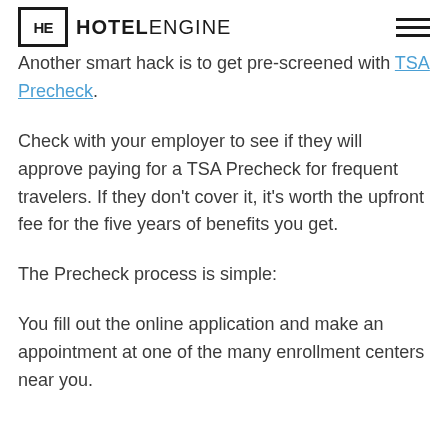HE HOTELENGINE
Another smart hack is to get pre-screened with TSA Precheck.
Check with your employer to see if they will approve paying for a TSA Precheck for frequent travelers. If they don't cover it, it's worth the upfront fee for the five years of benefits you get.
The Precheck process is simple:
You fill out the online application and make an appointment at one of the many enrollment centers near you.